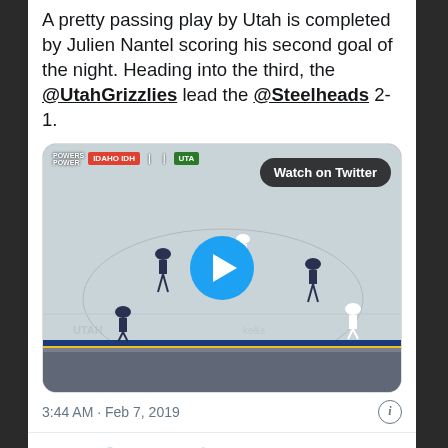A pretty passing play by Utah is completed by Julien Nantel scoring his second goal of the night. Heading into the third, the @UtahGrizzlies lead the @Steelheads 2-1.
[Figure (screenshot): Embedded video thumbnail of a hockey game with a play button, showing a rink scene with a HUD overlay showing IDH and UTA team scores, and a 'Watch on Twitter' badge.]
3:44 AM · Feb 7, 2019
♥ 15   Reply   Copy link
Explore what's happening on Twitter